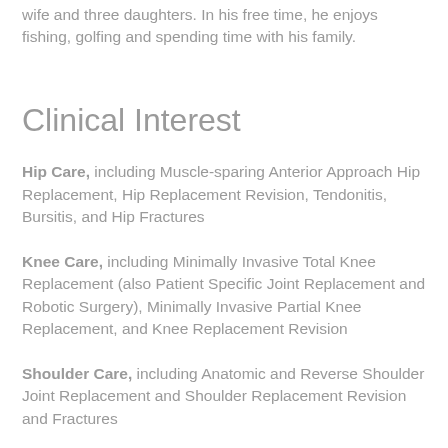wife and three daughters. In his free time, he enjoys fishing, golfing and spending time with his family.
Clinical Interest
Hip Care, including Muscle-sparing Anterior Approach Hip Replacement, Hip Replacement Revision, Tendonitis, Bursitis, and Hip Fractures
Knee Care, including Minimally Invasive Total Knee Replacement (also Patient Specific Joint Replacement and Robotic Surgery), Minimally Invasive Partial Knee Replacement, and Knee Replacement Revision
Shoulder Care, including Anatomic and Reverse Shoulder Joint Replacement and Shoulder Replacement Revision and Fractures
Sports Medicine, including Shoulder Arthroscopy, Rotator Cuff Repair, Shoulder Instability, Biceps Tenodesis or Tenotomy, Frozen Shoulder, Impingement, Labral Repair, Subacromial